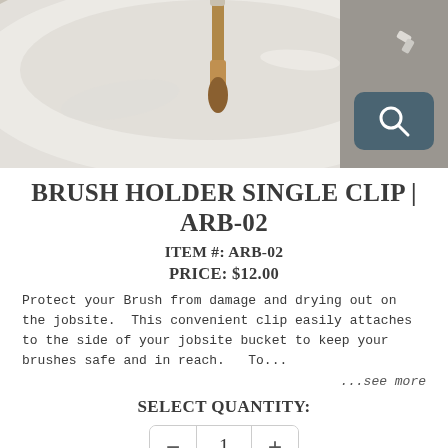[Figure (photo): Photo of a brush holder single clip attached to a white bucket/bowl, showing a brush hanging from the clip. A magnify/zoom icon button is visible in the lower right corner of the image.]
BRUSH HOLDER SINGLE CLIP | ARB-02
ITEM #: ARB-02
PRICE: $12.00
Protect your Brush from damage and drying out on the jobsite.  This convenient clip easily attaches to the side of your jobsite bucket to keep your brushes safe and in reach.   To...
...see more
SELECT QUANTITY:
1